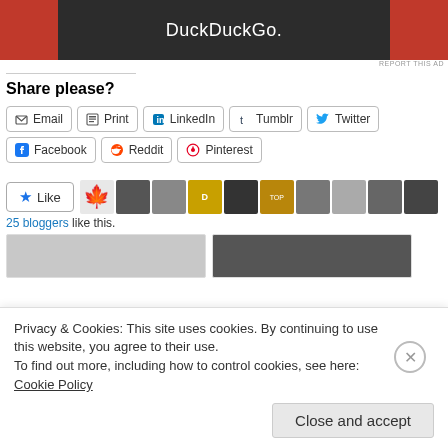[Figure (screenshot): DuckDuckGo advertisement banner with orange sides and dark center showing DuckDuckGo logo]
REPORT THIS AD
Share please?
Email | Print | LinkedIn | Tumblr | Twitter
Facebook | Reddit | Pinterest
[Figure (screenshot): Like button with star icon and row of blogger avatars including maple leaf and profile photos. 25 bloggers like this.]
25 bloggers like this.
[Figure (screenshot): Two related post thumbnail images at the bottom]
Privacy & Cookies: This site uses cookies. By continuing to use this website, you agree to their use.
To find out more, including how to control cookies, see here: Cookie Policy
Close and accept